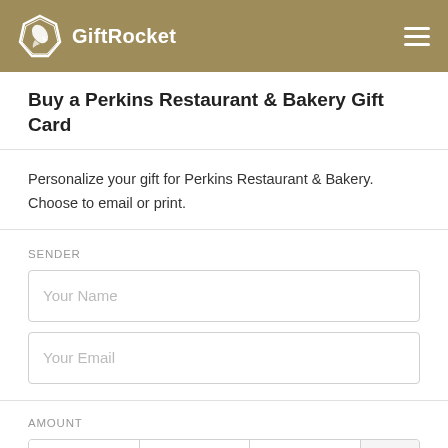[Figure (logo): GiftRocket logo with rocket icon in hexagonal badge and text 'GiftRocket' in white on tan/gold header bar]
Buy a Perkins Restaurant & Bakery Gift Card
Personalize your gift for Perkins Restaurant & Bakery. Choose to email or print.
SENDER
Your Name
Your Email
AMOUNT
$25  $50  $75